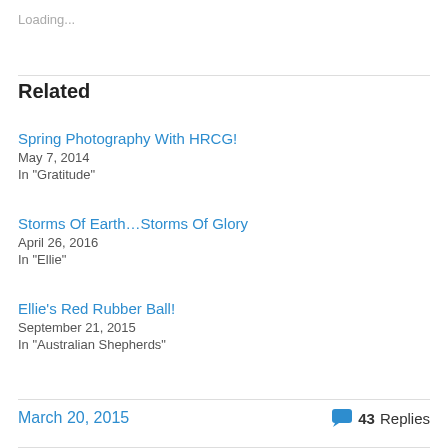Loading...
Related
Spring Photography With HRCG!
May 7, 2014
In "Gratitude"
Storms Of Earth…Storms Of Glory
April 26, 2016
In "Ellie"
Ellie's Red Rubber Ball!
September 21, 2015
In "Australian Shepherds"
March 20, 2015    43 Replies